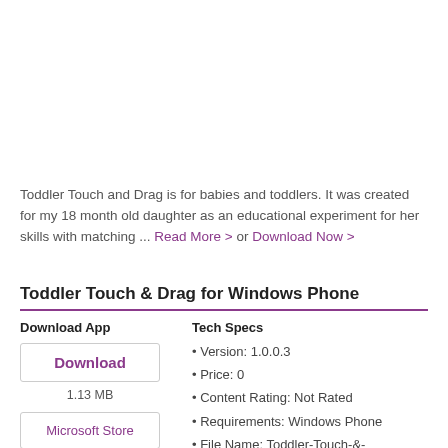Toddler Touch and Drag is for babies and toddlers. It was created for my 18 month old daughter as an educational experiment for her skills with matching ... Read More > or Download Now >
Toddler Touch & Drag for Windows Phone
Download App
Download
1.13 MB
Microsoft Store
Tech Specs
Version: 1.0.0.3
Price: 0
Content Rating: Not Rated
Requirements: Windows Phone
File Name: Toddler-Touch-&-